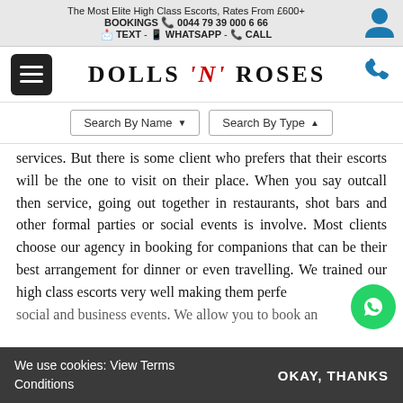The Most Elite High Class Escorts, Rates From £600+
BOOKINGS 0044 79 39 000 6 66
TEXT - WHATSAPP - CALL
[Figure (logo): Dolls N Roses brand logo with hamburger menu and phone icon navigation bar]
Search By Name▼   Search By Type ▼
services. But there is some client who prefers that their escorts will be the one to visit on their place. When you say outcall then service, going out together in restaurants, shot bars and other formal parties or social events is involve. Most clients choose our agency in booking for companions that can be their best arrangement for dinner or even travelling. We trained our high class escorts very well making them perfe social and business events. We allow you to book an
We use cookies: View Terms Conditions
OKAY, THANKS